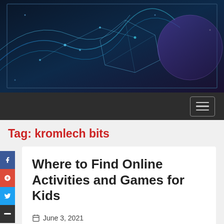[Figure (illustration): Blue digital network abstract banner image with geometric lines and nodes on dark background]
[Figure (screenshot): Dark navigation bar with hamburger menu button (three horizontal lines) in top right corner]
Tag: kromlech bits
Where to Find Online Activities and Games for Kids
June 3, 2021